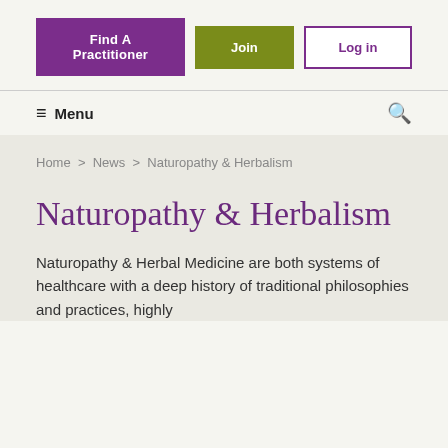Find A Practitioner | Join | Log in
≡ Menu
Home > News > Naturopathy & Herbalism
Naturopathy & Herbalism
Naturopathy & Herbal Medicine are both systems of healthcare with a deep history of traditional philosophies and practices, highly